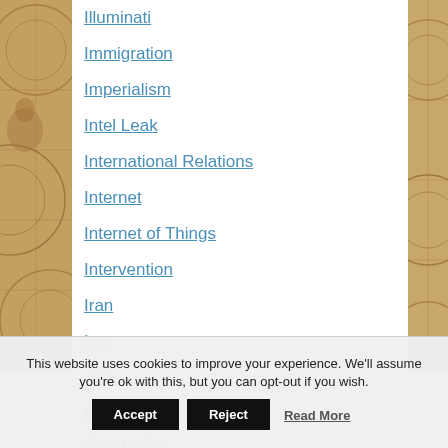Illuminati
Immigration
Imperialism
Intel Leak
International Relations
Internet
Internet of Things
Intervention
Iran
Iraq
ISIS
Israel
Insurrection (partial)
This website uses cookies to improve your experience. We'll assume you're ok with this, but you can opt-out if you wish.
Accept | Reject | Read More